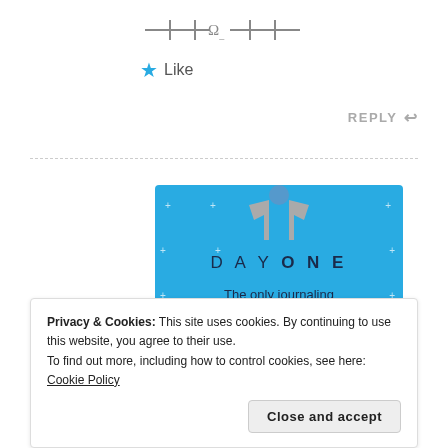[Figure (other): Mathematical formula or symbolic expression rendered in gray text at top of page]
★ Like
REPLY ↩
[Figure (advertisement): Day One journaling app advertisement with blue background, t-shirt graphic, text 'DAY ONE - The only journaling app you'll ever need.' and a 'Get the app' button]
Privacy & Cookies: This site uses cookies. By continuing to use this website, you agree to their use.
To find out more, including how to control cookies, see here: Cookie Policy
Close and accept